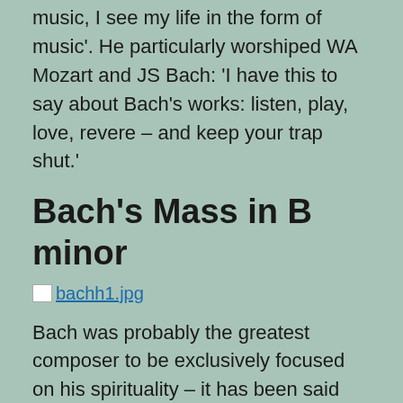music, I see my life in the form of music'. He particularly worshiped WA Mozart and JS Bach: 'I have this to say about Bach's works: listen, play, love, revere – and keep your trap shut.'
Bach's Mass in B minor
[Figure (photo): Image file placeholder: bachh1.jpg]
Bach was probably the greatest composer to be exclusively focused on his spirituality – it has been said that every composition Bach wrote was dedicated to God. The Mass in B